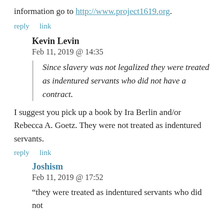information go to http://www.project1619.org.
reply   link
Kevin Levin
Feb 11, 2019 @ 14:35
Since slavery was not legalized they were treated as indentured servants who did not have a contract.
I suggest you pick up a book by Ira Berlin and/or Rebecca A. Goetz. They were not treated as indentured servants.
reply   link
Joshism
Feb 11, 2019 @ 17:52
“they were treated as indentured servants who did not